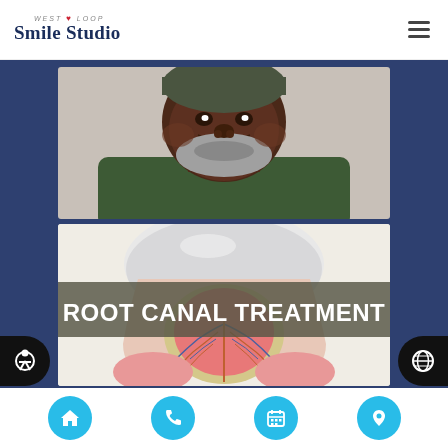West Loop Smile Studio
[Figure (photo): Smiling older Black man with grey beard wearing dark green hoodie, close-up portrait photo]
[Figure (infographic): Root Canal Treatment dental infographic showing cross-section of a tooth with pulp, nerves and blood vessels visible in pink/red tones, bold white text reading ROOT CANAL TREATMENT on dark semi-transparent banner]
Bottom navigation bar with home, phone, calendar, and location icons in cyan circles